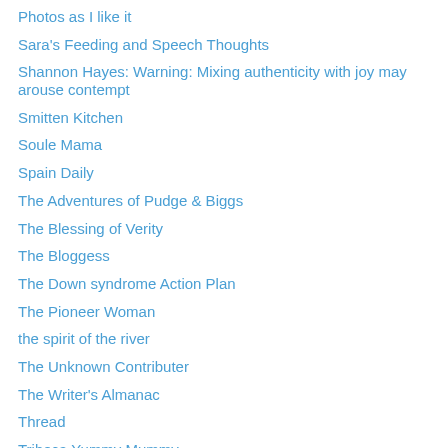Photos as I like it
Sara's Feeding and Speech Thoughts
Shannon Hayes: Warning: Mixing authenticity with joy may arouse contempt
Smitten Kitchen
Soule Mama
Spain Daily
The Adventures of Pudge & Biggs
The Blessing of Verity
The Bloggess
The Down syndrome Action Plan
The Pioneer Woman
the spirit of the river
The Unknown Contributer
The Writer's Almanac
Thread
Tribeca Yummy Mummy
Unringing the Bell
zero expectations